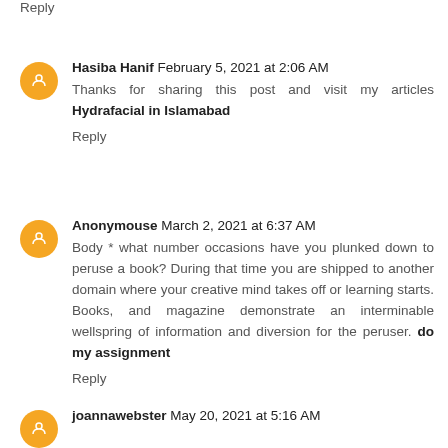Reply
Hasiba Hanif  February 5, 2021 at 2:06 AM
Thanks for sharing this post and visit my articles Hydrafacial in Islamabad
Reply
Anonymouse  March 2, 2021 at 6:37 AM
Body * what number occasions have you plunked down to peruse a book? During that time you are shipped to another domain where your creative mind takes off or learning starts. Books, and magazine demonstrate an interminable wellspring of information and diversion for the peruser. do my assignment
Reply
joannawebster  May 20, 2021 at 5:16 AM